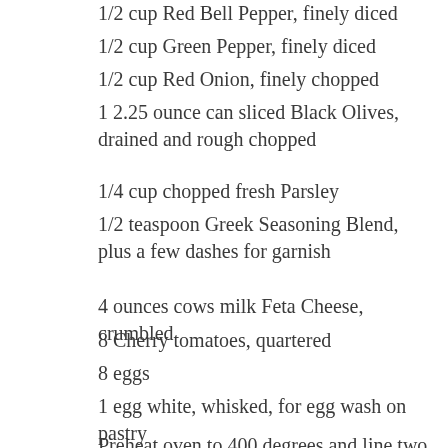1/2 cup Red Bell Pepper, finely diced
1/2 cup Green Pepper, finely diced
1/2 cup Red Onion, finely chopped
1 2.25 ounce can sliced Black Olives, drained and rough chopped
1/4 cup chopped fresh Parsley
1/2 teaspoon Greek Seasoning Blend, plus a few dashes for garnish
4 ounces cows milk Feta Cheese, crumbled
8 Cherry tomatoes, quartered
8 eggs
1 egg white, whisked, for egg wash on pastry
Preheat oven to 400 degrees and line two baking sheets with parchment paper.